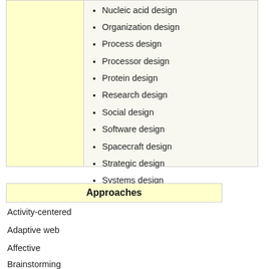Nucleic acid design
Organization design
Process design
Processor design
Protein design
Research design
Social design
Software design
Spacecraft design
Strategic design
Systems design
Approaches
Activity-centered
Adaptive web
Affective
Brainstorming